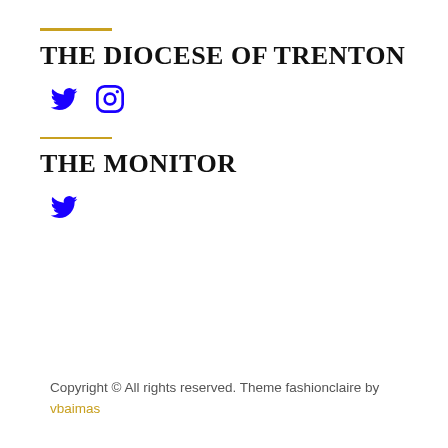THE DIOCESE OF TRENTON
[Figure (infographic): Twitter and Instagram social media icons in blue]
THE MONITOR
[Figure (infographic): Twitter social media icon in blue]
Copyright © All rights reserved. Theme fashionclaire by vbaimas